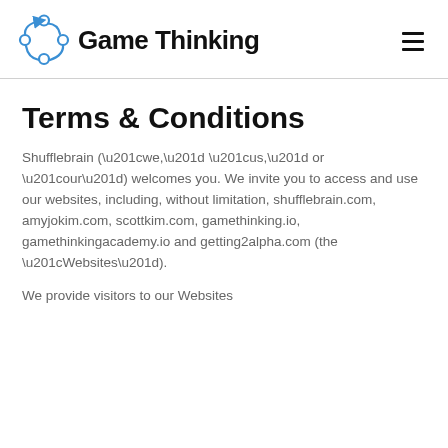[Figure (logo): Game Thinking logo: blue circular arrow icon with nodes and bold black text 'Game Thinking']
Terms & Conditions
Shufflebrain (“we,” “us,” or “our”) welcomes you. We invite you to access and use our websites, including, without limitation, shufflebrain.com, amyjokim.com, scottkim.com, gamethinking.io, gamethinkingacademy.io and getting2alpha.com (the “Websites”).
We provide visitors to our Websites